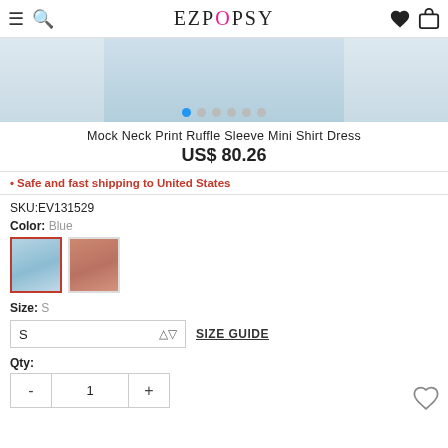EZPOPSY
[Figure (photo): Product image carousel showing a blue mini shirt dress, partially visible. Navigation dots below image: one blue (active), five grey.]
Mock Neck Print Ruffle Sleeve Mini Shirt Dress
US$ 80.26
• Safe and fast shipping to United States
SKU:EV131529
Color: Blue
[Figure (photo): Two color swatch thumbnails: blue dress (selected, red border) and pink/salmon dress.]
Size: S
S  SIZE GUIDE
Qty:
- 1 +